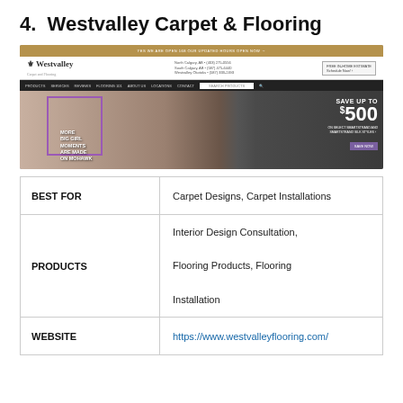4.  Westvalley Carpet & Flooring
[Figure (screenshot): Screenshot of Westvalley Carpet & Flooring website showing the homepage with a promotional banner offering 'Save up to $500 on select Smartstrand and Smartstrand Silk styles' and a Mohawk carpet advertisement.]
| BEST FOR | Carpet Designs, Carpet Installations |
| PRODUCTS | Interior Design Consultation, Flooring Products, Flooring Installation |
| WEBSITE | https://www.westvalleyflooring.com/ |